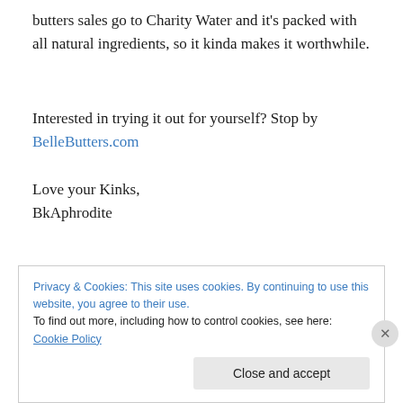butters sales go to Charity Water and it's packed with all natural ingredients, so it kinda makes it worthwhile.
Interested in trying it out for yourself? Stop by BelleButters.com
Love your Kinks,
BkAphrodite
Privacy & Cookies: This site uses cookies. By continuing to use this website, you agree to their use.
To find out more, including how to control cookies, see here: Cookie Policy
Close and accept